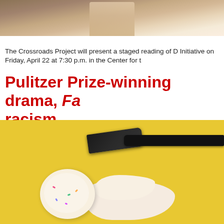[Figure (photo): Top portion of a photo showing people on a stage, cropped at the top of the page]
The Crossroads Project will present a staged reading of D Initiative on Friday, April 22 at 7:30 p.m. in the Center for t
Pulitzer Prize-winning drama, Fa racism
[Figure (photo): Photo of a black spatula above a frosted cookie with colorful sprinkles and cookie crumbles on a yellow background]